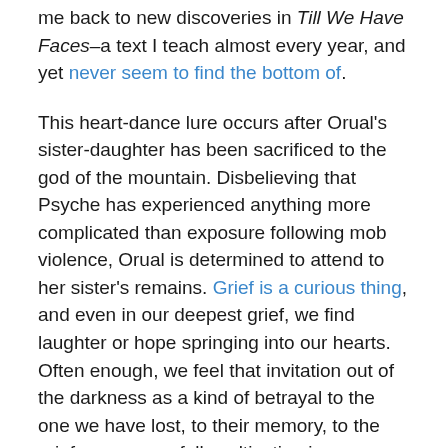me back to new discoveries in Till We Have Faces–a text I teach almost every year, and yet never seem to find the bottom of.
This heart-dance lure occurs after Orual's sister-daughter has been sacrificed to the god of the mountain. Disbelieving that Psyche has experienced anything more complicated than exposure following mob violence, Orual is determined to attend to her sister's remains. Grief is a curious thing, and even in our deepest grief, we find laughter or hope springing into our hearts. Often enough, we feel that invitation out of the darkness as a kind of betrayal to the one we have lost, to their memory, to the grief we are carefully cultivating in our hearts.
This is what Orual feels as she climbs the dew-laden mountain into the warm sunlight. Orual allows her face to